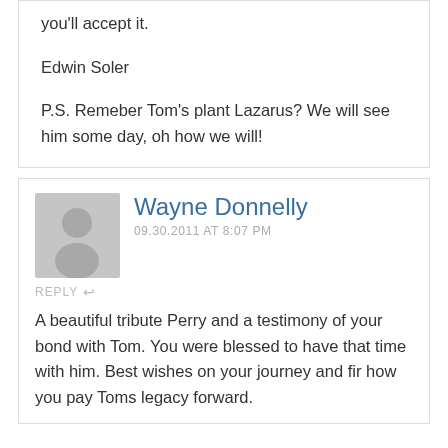you'll accept it.
Edwin Soler
P.S. Remeber Tom's plant Lazarus? We will see him some day, oh how we will!
Wayne Donnelly
09.30.2011 AT 8:07 PM
A beautiful tribute Perry and a testimony of your bond with Tom. You were blessed to have that time with him. Best wishes on your journey and fir how you pay Toms legacy forward.